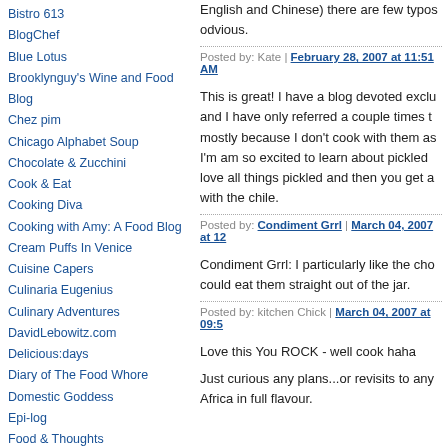Bistro 613
BlogChef
Blue Lotus
Brooklynguy's Wine and Food Blog
Chez pim
Chicago Alphabet Soup
Chocolate & Zucchini
Cook & Eat
Cooking Diva
Cooking with Amy: A Food Blog
Cream Puffs In Venice
Cuisine Capers
Culinaria Eugenius
Culinary Adventures
DavidLebowitz.com
Delicious:days
Diary of The Food Whore
Domestic Goddess
Epi-log
Food & Thoughts
Foodgoat ... something tasty every day
Fork This
English and Chinese) there are few typos odvious.
Posted by: Kate | February 28, 2007 at 11:51 AM
This is great! I have a blog devoted exclu and I have only referred a couple times t mostly because I don't cook with them as I'm am so excited to learn about pickled love all things pickled and then you get a with the chile.
Posted by: Condiment Grrl | March 04, 2007 at 12
Condiment Grrl: I particularly like the cho could eat them straight out of the jar.
Posted by: kitchen Chick | March 04, 2007 at 09:5
Love this You ROCK - well cook haha
Just curious any plans...or revisits to any Africa in full flavour.